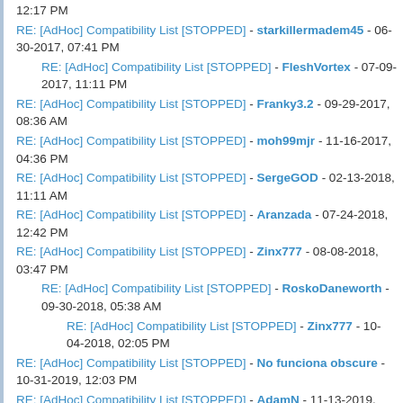12:17 PM
RE: [AdHoc] Compatibility List [STOPPED] - starkillermadem45 - 06-30-2017, 07:41 PM
RE: [AdHoc] Compatibility List [STOPPED] - FleshVortex - 07-09-2017, 11:11 PM
RE: [AdHoc] Compatibility List [STOPPED] - Franky3.2 - 09-29-2017, 08:36 AM
RE: [AdHoc] Compatibility List [STOPPED] - moh99mjr - 11-16-2017, 04:36 PM
RE: [AdHoc] Compatibility List [STOPPED] - SergeGOD - 02-13-2018, 11:11 AM
RE: [AdHoc] Compatibility List [STOPPED] - Aranzada - 07-24-2018, 12:42 PM
RE: [AdHoc] Compatibility List [STOPPED] - Zinx777 - 08-08-2018, 03:47 PM
RE: [AdHoc] Compatibility List [STOPPED] - RoskoDaneworth - 09-30-2018, 05:38 AM
RE: [AdHoc] Compatibility List [STOPPED] - Zinx777 - 10-04-2018, 02:05 PM
RE: [AdHoc] Compatibility List [STOPPED] - No funciona obscure - 10-31-2019, 12:03 PM
RE: [AdHoc] Compatibility List [STOPPED] - AdamN - 11-13-2019, 05:24 AM
RE: [AdHoc] Compatibility List [STOPPED] - Zinx777 - 11-15-2019, 07:41 PM